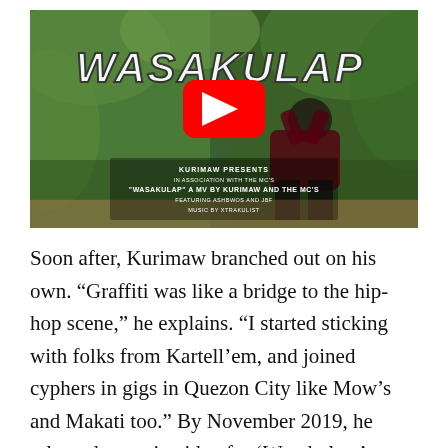[Figure (screenshot): YouTube video thumbnail for 'Wasakulap' music video by Kurimaw and The MC's. Shows a person crouching with head in hands against a green leafy background, with graffiti-style 'WASAKULAP' text overlay and a YouTube play button in the center. Bottom credits read: KURIMAW PRESENTS IN ASSOCIATION WITH THE MC'S 'WASAKULAP' A MV BY KURIMAW AND THE MC'S FEATURING ASHBWOS AND JBF MUSIC BY XTRAKULIST]
Soon after, Kurimaw branched out on his own. "Graffiti was like a bridge to the hip-hop scene," he explains. "I started sticking with folks from Kartell'em, and joined cyphers in gigs in Quezon City like Mow's and Makati too." By November 2019, he released a music video for 'Wasakulap,' which has since racked up close to a million views on YouTube.